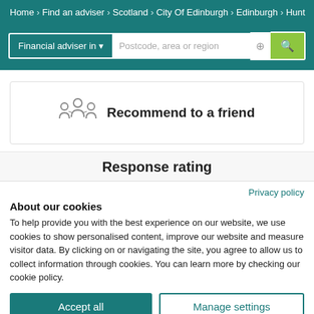Home > Find an adviser > Scotland > City Of Edinburgh > Edinburgh > Hunt
[Figure (screenshot): Search bar with 'Financial adviser in' dropdown, postcode input, location icon, and green search button]
[Figure (infographic): Recommend to a friend box with people/network icon]
Response rating
Privacy policy
About our cookies
To help provide you with the best experience on our website, we use cookies to show personalised content, improve our website and measure visitor data. By clicking on or navigating the site, you agree to allow us to collect information through cookies. You can learn more by checking our cookie policy.
Accept all
Manage settings